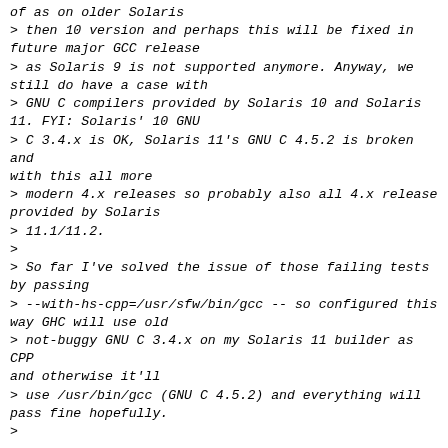of as on older Solaris
> then 10 version and perhaps this will be fixed in future major GCC release
> as Solaris 9 is not supported anymore. Anyway, we still do have a case with
> GNU C compilers provided by Solaris 10 and Solaris 11. FYI: Solaris' 10 GNU
> C 3.4.x is OK, Solaris 11's GNU C 4.5.2 is broken and with this all more
> modern 4.x releases so probably also all 4.x release provided by Solaris
> 11.1/11.2.
>
> So far I've solved the issue of those failing tests by passing
> --with-hs-cpp=/usr/sfw/bin/gcc -- so configured this way GHC will use old
> not-buggy GNU C 3.4.x on my Solaris 11 builder as CPP and otherwise it'll
> use /usr/bin/gcc (GNU C 4.5.2) and everything will pass fine hopefully.
>
> Anyway, the thread[1] also contains a question which also rings in my head
> and that is: why we use -x assembler-with-cpp at all? Isn't simple -E
> enough. Or isn't simple usage of system provided CPP enough /usr/lib/cpp on
> Solaris)? Or what will happen if we for example change -x